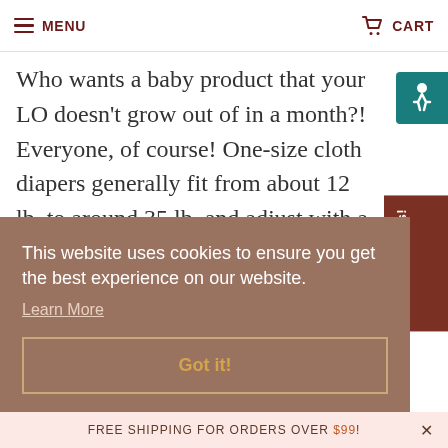MENU | CART
one-size diapers
Who wants a baby product that your LO doesn't grow out of in a month?! Everyone, of course! One-size cloth diapers generally fit from about 12 lb. to around 35 lb. and adjust with a snap system to toggle the rise (don't
This website uses cookies to ensure you get the best experience on our website. Learn More
Got it!
FREE SHIPPING FOR ORDERS OVER $99!